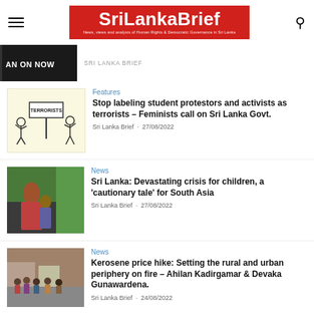SriLankaBrief — News, views and analysis of Human Rights & Democratic Governance in Sri Lanka
[Figure (screenshot): Partial article thumbnail with dark background and text 'AN ON NOW']
SRI LANKA BRIEF
[Figure (illustration): Cartoon illustration showing people being labeled as terrorists in front of a sign reading TERRORISTS]
Features
Stop labeling student protestors and activists as terrorists – Feminists call on Sri Lanka Govt.
Sri Lanka Brief · 27/08/2022
[Figure (photo): Photo of women and children in front of a green wall, appearing to be in a difficult situation]
News
Sri Lanka: Devastating crisis for children, a 'cautionary tale' for South Asia
Sri Lanka Brief · 27/08/2022
[Figure (photo): Photo of people queuing in a street, likely for fuel or essential supplies]
News
Kerosene price hike: Setting the rural and urban periphery on fire – Ahilan Kadirgamar & Devaka Gunawardena.
Sri Lanka Brief · 24/08/2022